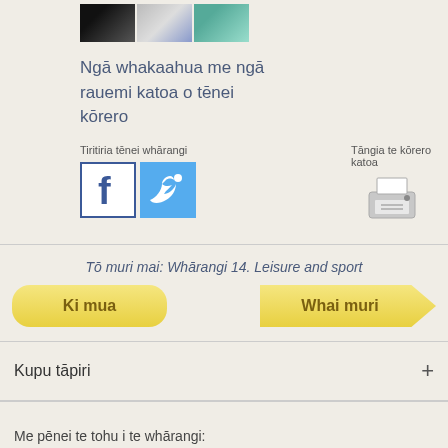[Figure (photo): Three small thumbnail images at the top: a dark image, a grey/blue image, and a green/teal image]
Ngā whakaahua me ngā rauemi katoa o tēnei kōrero
Tiritiria tēnei whārangi
[Figure (logo): Facebook share icon (blue F in white square with blue border)]
[Figure (logo): Twitter share icon (white bird on blue background)]
Tāngia te kōrero katoa
[Figure (illustration): Printer icon in grey]
Tō muri mai: Whārangi 14. Leisure and sport
Ki mua
Whai muri
Kupu tāpiri
Me pēnei te tohu i te whārangi: